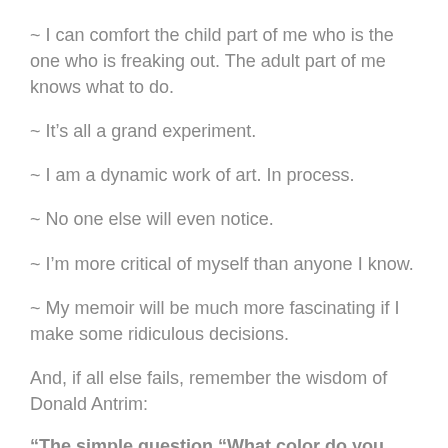~ I can comfort the child part of me who is the one who is freaking out. The adult part of me knows what to do.
~ It’s all a grand experiment.
~ I am a dynamic work of art. In process.
~ No one else will even notice.
~ I’m more critical of myself than anyone I know.
~ My memoir will be much more fascinating if I make some ridiculous decisions.
And, if all else fails, remember the wisdom of Donald Antrim:
“The simple question “What color do you want to paint that upstairs room?” might, if we follow things